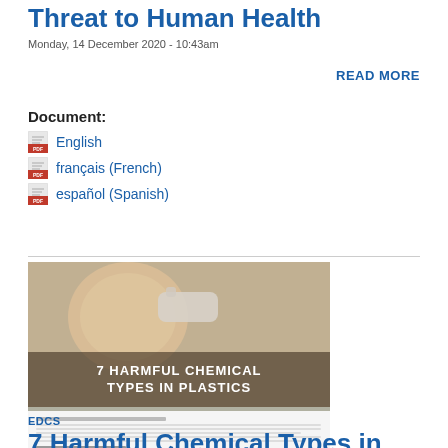Threat to Human Health
Monday, 14 December 2020 - 10:43am
READ MORE
Document:
English
français (French)
español (Spanish)
[Figure (photo): Baby drinking from bottle with overlay text: 7 HARMFUL CHEMICAL TYPES IN PLASTICS. Below is a thumbnail of a document page.]
EDCS
7 Harmful Chemical Types in